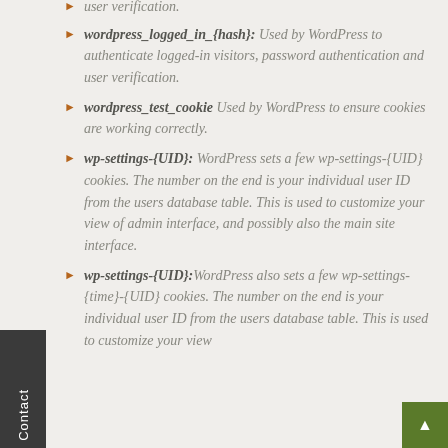wordpress_logged_in_{hash}: Used by WordPress to authenticate logged-in visitors, password authentication and user verification.
wordpress_test_cookie Used by WordPress to ensure cookies are working correctly.
wp-settings-{UID}: WordPress sets a few wp-settings-{UID} cookies. The number on the end is your individual user ID from the users database table. This is used to customize your view of admin interface, and possibly also the main site interface.
wp-settings-{UID}: WordPress also sets a few wp-settings-{time}-{UID} cookies. The number on the end is your individual user ID from the users database table. This is used to customize your view of admin interface, and possibly also the main site interface.